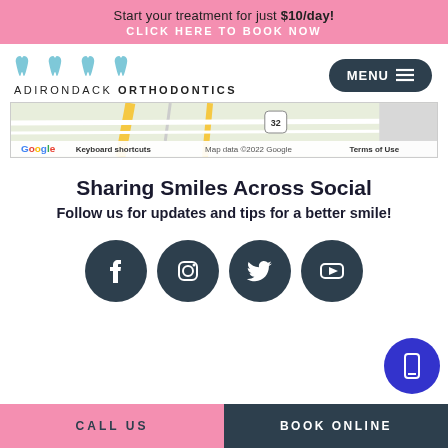Start your treatment for just $10/day!
CLICK HERE TO BOOK NOW
[Figure (logo): Adirondack Orthodontics logo with tooth icons and text]
[Figure (map): Google Maps embed showing location, with keyboard shortcuts and map data copyright 2022 Google]
Sharing Smiles Across Social
Follow us for updates and tips for a better smile!
[Figure (infographic): Social media icons: Facebook, Instagram, Twitter, YouTube (dark circle buttons)]
CALL US    BOOK ONLINE